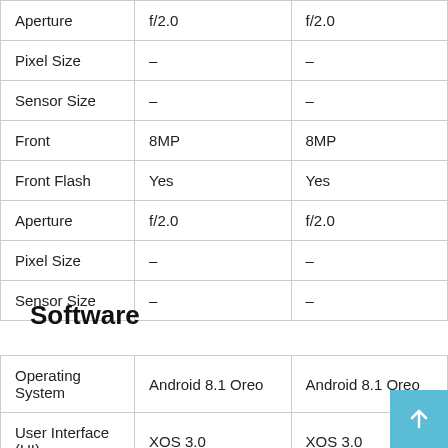| Aperture | f/2.0 | f/2.0 |
| Pixel Size | – | – |
| Sensor Size | – | – |
| Front | 8MP | 8MP |
| Front Flash | Yes | Yes |
| Aperture | f/2.0 | f/2.0 |
| Pixel Size | – | – |
| Sensor Size | – | – |
Software
| Operating System | Android 8.1 Oreo | Android 8.1 Oreo |
| User Interface (UI) | XOS 3.0 | XOS 3.0 |
| Java Support | Yes | No |